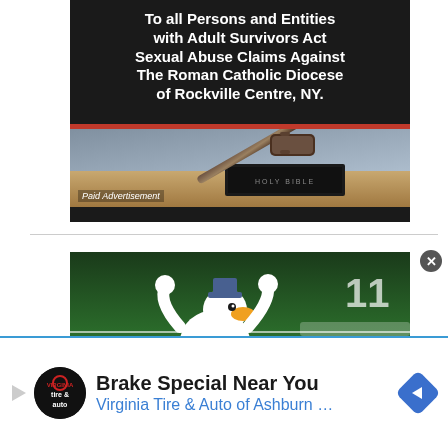[Figure (screenshot): Legal advertisement banner with dark background showing text about Adult Survivors Act Sexual Abuse Claims Against The Roman Catholic Diocese of Rockville Centre, NY, with a gavel resting on a Holy Bible at the bottom, and a red divider bar. Labeled 'Paid Advertisement'.]
[Figure (screenshot): Sports advertisement banner showing an animated duck mascot character with arms raised at a baseball stadium.]
[Figure (screenshot): Bottom advertisement bar for Virginia Tire & Auto of Ashburn featuring logo, 'Brake Special Near You' headline, and navigation diamond icon.]